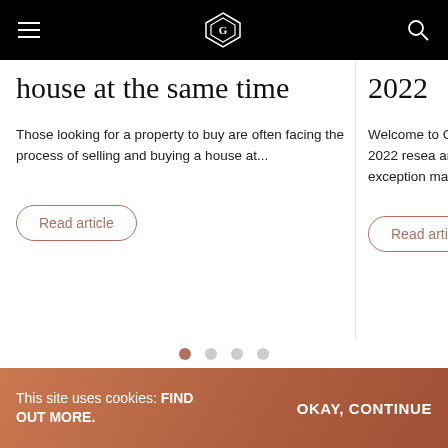Navigation bar with hamburger menu, logo, and search icon
house at the same time
Those looking for a property to buy are often facing the process of selling and buying a house at...
Read article
2022
Welcome to Garri Live in 2022 resea another exception market,...
Read article
This site uses cookies: FIND OUT MORE.   OKAY, CONTINUE